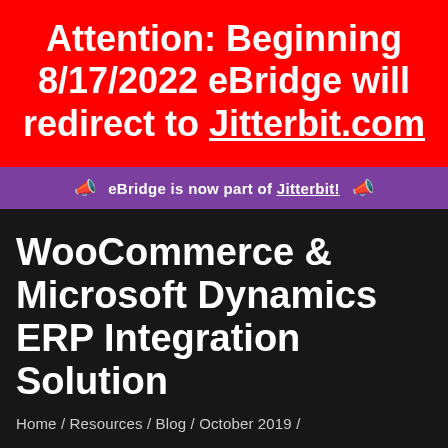Attention: Beginning 8/17/2022 eBridge will redirect to Jitterbit.com
📣 eBridge is now part of Jitterbit! 📣
WooCommerce & Microsoft Dynamics ERP Integration Solution
Home / Resources / Blog / October 2019 /
WooCommerce & Microsoft Dynamics ERP